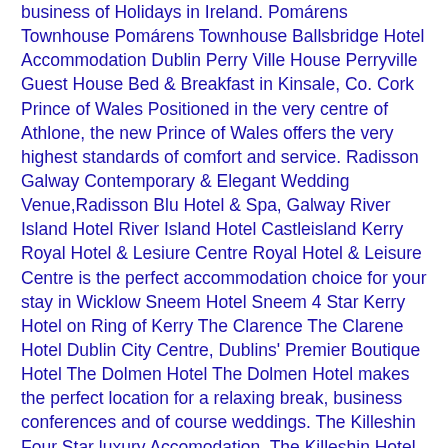business of Holidays in Ireland. Pomárens Townhouse Pomárens Townhouse Ballsbridge Hotel Accommodation Dublin Perry Ville House Perryville Guest House Bed & Breakfast in Kinsale, Co. Cork Prince of Wales Positioned in the very centre of Athlone, the new Prince of Wales offers the very highest standards of comfort and service. Radisson Galway Contemporary & Elegant Wedding Venue,Radisson Blu Hotel & Spa, Galway River Island Hotel River Island Hotel Castleisland Kerry Royal Hotel & Lesiure Centre Royal Hotel & Leisure Centre is the perfect accommodation choice for your stay in Wicklow Sneem Hotel Sneem 4 Star Kerry Hotel on Ring of Kerry The Clarence The Clarene Hotel Dublin City Centre, Dublins' Premier Boutique Hotel The Dolmen Hotel The Dolmen Hotel makes the perfect location for a relaxing break, business conferences and of course weddings. The Killeshin Four Star luxury Accomodation, The Killeshin Hotel, Dublin Rd. Portlaoise, Co. Laois The Morrison Luxury Boutique Dublin city centre Morrison Hotel Ireland Tullamore Court Hotel 4 Star Tullamore Court Hotel & Leisure Centre Offaly Trinity Lodge Hotel Dublin City Centre Boutique Georgian Hotel – Trinity Lodge Dublin Waterside House Hotel The Waterside House Hotel is the perfect accommodation choice for your stay in Dublin Westgrove Hotel The 4 star Westgrove Hotel in the County Kildare village of Clane provides the perfect haven for the leisure or business